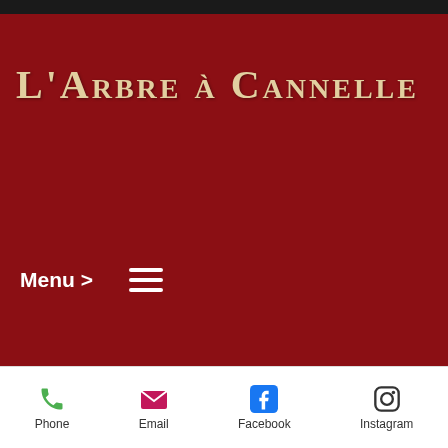L'Arbre à Cannelle
Menu >
Restaurant
Salon de thé
Crêperie
Tarterie
☎ 01.43.31.68.31
a Clenbuterol supplement will depend largely on other side effects like nausea,
Phone   Email   Facebook   Instagram